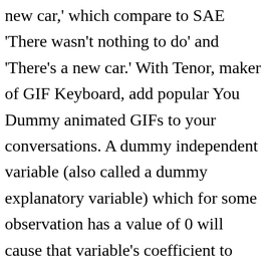new car,' which compare to SAE 'There wasn't nothing to do' and 'There's a new car.' With Tenor, maker of GIF Keyboard, add popular You Dummy animated GIFs to your conversations. A dummy independent variable (also called a dummy explanatory variable) which for some observation has a value of 0 will cause that variable's coefficient to have no role in influencing the dependent variable, while when the dummy takes on a value 1 its coefficient acts to alter the intercept. Dummy Pronouns "There are also pronouns that don't mean anything at all. 7 May